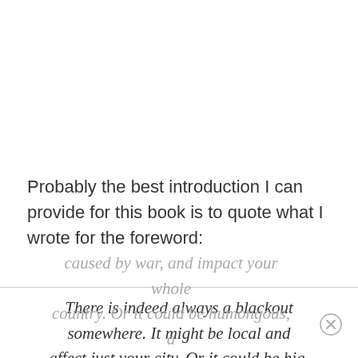Probably the best introduction I can provide for this book is to quote what I wrote for the foreword:
There is indeed always a blackout somewhere. It might be local and affect just your city. Or it could be big, manmade,
caused by war, and impact your whole country. Or it could be humongous, a